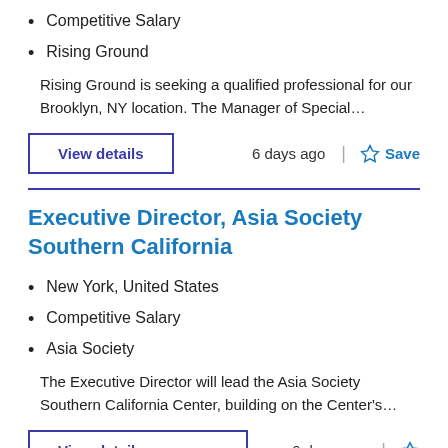Competitive Salary
Rising Ground
Rising Ground is seeking a qualified professional for our Brooklyn, NY location. The Manager of Special…
View details | 6 days ago | Save
Executive Director, Asia Society Southern California
New York, United States
Competitive Salary
Asia Society
The Executive Director will lead the Asia Society Southern California Center, building on the Center's…
View details | 6 days ago | Save